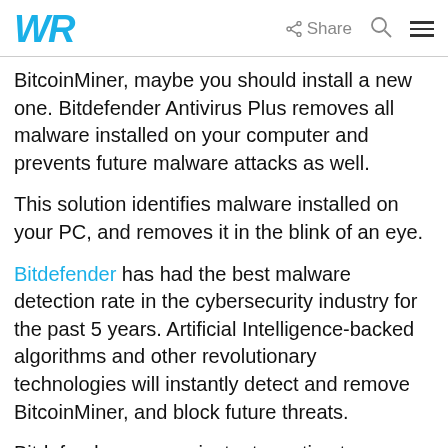WR | Share [search] [menu]
BitcoinMiner, maybe you should install a new one. Bitdefender Antivirus Plus removes all malware installed on your computer and prevents future malware attacks as well.
This solution identifies malware installed on your PC, and removes it in the blink of an eye.
Bitdefender has had the best malware detection rate in the cybersecurity industry for the past 5 years. Artificial Intelligence-backed algorithms and other revolutionary technologies will instantly detect and remove BitcoinMiner, and block future threats.
Bitdefender ensures instant reaction to malware, without affecting your PC's performance.